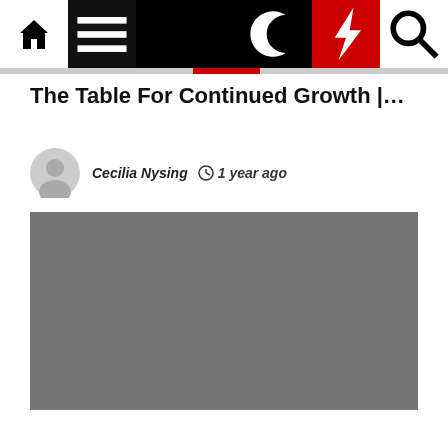Navigation bar with home, menu, moon, bolt, and search icons
The Table For Continued Growth |…
Cecilia Nysing  1 year ago
[Figure (photo): Gray placeholder image block]
Sales Management